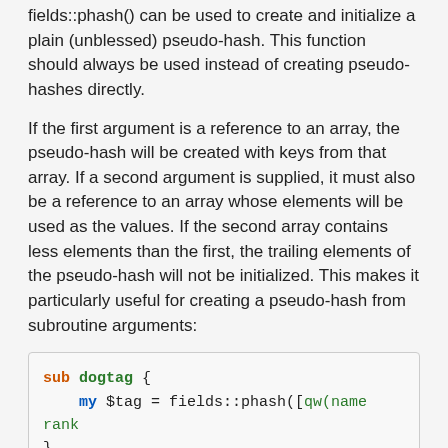fields::phash() can be used to create and initialize a plain (unblessed) pseudo-hash. This function should always be used instead of creating pseudo-hashes directly.
If the first argument is a reference to an array, the pseudo-hash will be created with keys from that array. If a second argument is supplied, it must also be a reference to an array whose elements will be used as the values. If the second array contains less elements than the first, the trailing elements of the pseudo-hash will not be initialized. This makes it particularly useful for creating a pseudo-hash from subroutine arguments:
[Figure (screenshot): Code block showing: sub dogtag { my $tag = fields::phash([qw(name rank }]
fields::phash() also accepts a list of key-value pairs that will be used to construct the pseudo hash.